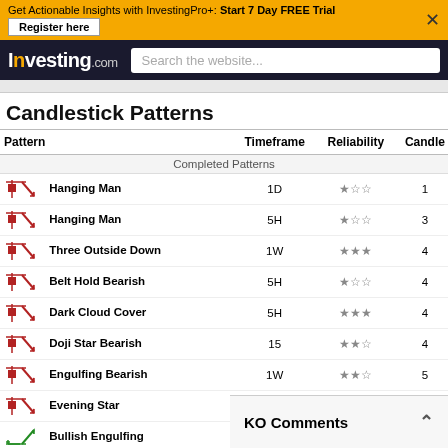Get Actionable Insights with InvestingPro+: Start 7 Day FREE Trial — Register here
Investing.com — Search the website...
Candlestick Patterns
| Pattern | Timeframe | Reliability | Candle |
| --- | --- | --- | --- |
| Hanging Man | 1D | ★☆☆ | 1 |
| Hanging Man | 5H | ★☆☆ | 3 |
| Three Outside Down | 1W | ★★★ | 4 |
| Belt Hold Bearish | 5H | ★☆☆ | 4 |
| Dark Cloud Cover | 5H | ★★★ | 4 |
| Doji Star Bearish | 15 | ★★☆ | 4 |
| Engulfing Bearish | 1W | ★★☆ | 5 |
| Evening Star | 1W | ★★★ | 5 |
| Bullish Engulfing | 15 | ★★☆ | 5 |
| Hanging Man | 1M | ★☆☆ | 6 |
| Doji Star | ... | ... | ... |
| Doji St | ... | ... | ... |
KO Comments